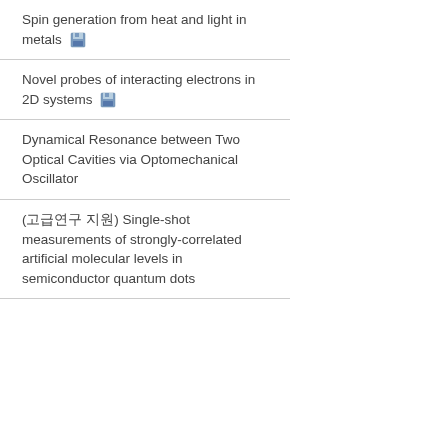Spin generation from heat and light in metals
Novel probes of interacting electrons in 2D systems
Dynamical Resonance between Two Optical Cavities via Optomechanical Oscillator
(다국어 지원) Single-shot measurements of strongly-correlated artificial molecular levels in semiconductor quantum dots